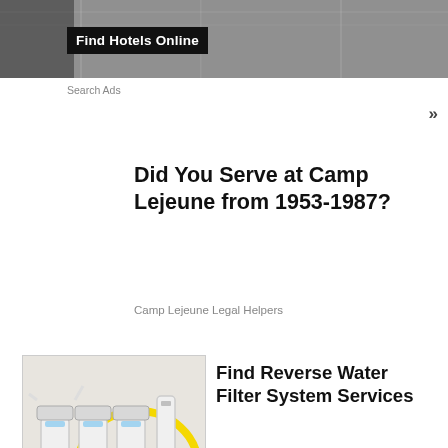[Figure (photo): Hotel interior ceiling banner image with dark overlay]
Find Hotels Online
Search Ads
»
Did You Serve at Camp Lejeune from 1953-1987?
Camp Lejeune Legal Helpers
[Figure (photo): Reverse osmosis water filter system with white cylindrical filters and yellow tubing]
Find Reverse Water Filter System Services
Search Ads
[Figure (photo): Lidl advertisement banner with logo, navigation icon, and text 'Lidl: More Food for Less Money']
Lidl: More Food for Less Money
Lidl